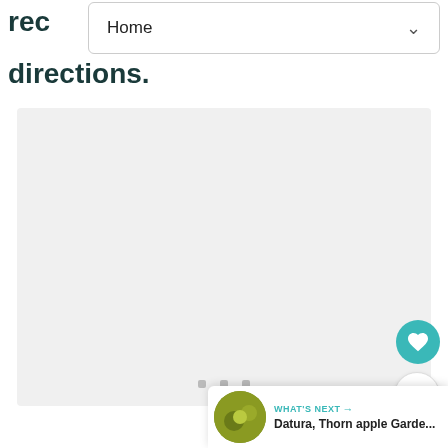rec
directions.
Home
[Figure (screenshot): Light gray empty content area placeholder with three small gray squares in the lower center, resembling a loading or image carousel state.]
[Figure (other): Teal circular heart/favorite button with white heart icon]
1
[Figure (other): White circular share button with teal share icon]
WHAT'S NEXT → Datura, Thorn apple Garde...